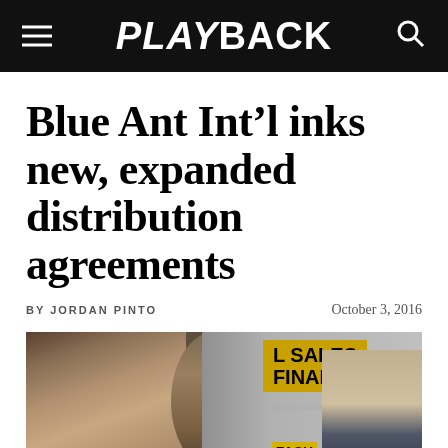PLAYBACK
Blue Ant Int’l inks new, expanded distribution agreements
BY JORDAN PINTO    October 3, 2016
[Figure (photo): Two men at what appears to be a trade show or retail environment, with a yellow sign reading 'ALL SALES FINAL' and text 'UNLESS STATED AT TIME OF PUR...' and 'FASH | PRICING' visible in the background.]